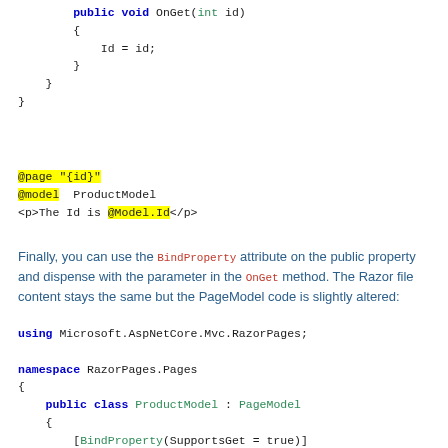public void OnGet(int id)
        {
            Id = id;
        }
    }
}
@page "{id}"
@model  ProductModel
<p>The Id is @Model.Id</p>
Finally, you can use the BindProperty attribute on the public property and dispense with the parameter in the OnGet method. The Razor file content stays the same but the PageModel code is slightly altered:
using Microsoft.AspNetCore.Mvc.RazorPages;

namespace RazorPages.Pages
{
    public class ProductModel : PageModel
    {
        [BindProperty(SupportsGet = true)]